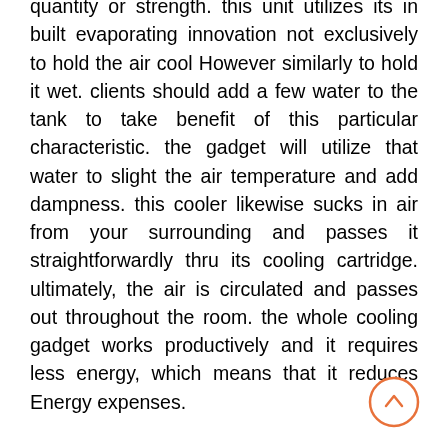quantity or strength. this unit utilizes its in built evaporating innovation not exclusively to hold the air cool However similarly to hold it wet. clients should add a few water to the tank to take benefit of this particular characteristic. the gadget will utilize that water to slight the air temperature and add dampness. this cooler likewise sucks in air from your surrounding and passes it straightforwardly thru its cooling cartridge. ultimately, the air is circulated and passes out throughout the room. the whole cooling gadget works productively and it requires less energy, which means that it reduces Energy expenses.

Chillwell has built in structures used to chill and humidify. on every occasion it is became on, it begins pulling within the hot, dry air from the